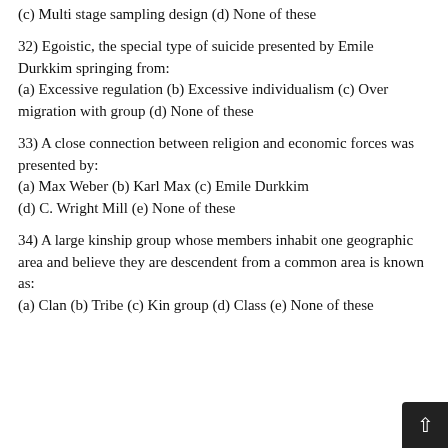(c) Multi stage sampling design (d) None of these
32) Egoistic, the special type of suicide presented by Emile Durkkim springing from:
(a) Excessive regulation (b) Excessive individualism (c) Over migration with group (d) None of these
33) A close connection between religion and economic forces was presented by:
(a) Max Weber (b) Karl Max (c) Emile Durkkim (d) C. Wright Mill (e) None of these
34) A large kinship group whose members inhabit one geographic area and believe they are descendent from a common area is known as:
(a) Clan (b) Tribe (c) Kin group (d) Class (e) None of these